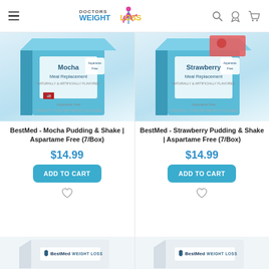Doctors Weight Loss - navigation header
[Figure (photo): BestMed Mocha Meal Replacement box, light blue packaging]
BestMed - Mocha Pudding & Shake | Aspartame Free (7/Box)
$14.99
ADD TO CART
[Figure (photo): BestMed Strawberry Meal Replacement box, light blue packaging]
BestMed - Strawberry Pudding & Shake | Aspartame Free (7/Box)
$14.99
ADD TO CART
[Figure (photo): BestMed Weight Loss product box partially visible at bottom left]
[Figure (photo): BestMed Weight Loss product box partially visible at bottom right]